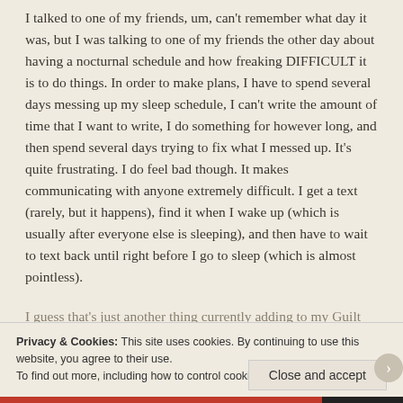I talked to one of my friends, um, can't remember what day it was, but I was talking to one of my friends the other day about having a nocturnal schedule and how freaking DIFFICULT it is to do things. In order to make plans, I have to spend several days messing up my sleep schedule, I can't write the amount of time that I want to write, I do something for however long, and then spend several days trying to fix what I messed up. It's quite frustrating. I do feel bad though. It makes communicating with anyone extremely difficult. I get a text (rarely, but it happens), find it when I wake up (which is usually after everyone else is sleeping), and then have to wait to text back until right before I go to sleep (which is almost pointless).
I guess that's just another thing currently adding to my Guilt
Privacy & Cookies: This site uses cookies. By continuing to use this website, you agree to their use.
To find out more, including how to control cookies, see here: Cookie Policy
Close and accept